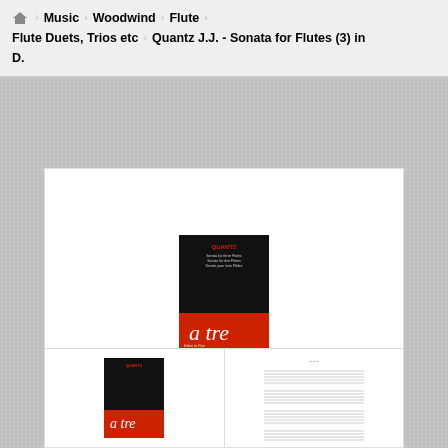🏠 › Music › Woodwind › Flute › Flute Duets, Trios etc › Quantz J.J. - Sonata for Flutes (3) in D.
[Figure (photo): Book cover for Quantz J.J. Sonata for Flutes (3) in D. Black cover with red band at bottom showing italic script 'a tre'. Small thumbnail version also shown.]
[Figure (screenshot): View larger button with magnifying glass plus icon]
[Figure (photo): Thumbnail of book cover - small version]
[Figure (photo): Thumbnail of sheet music - musical notation pages]